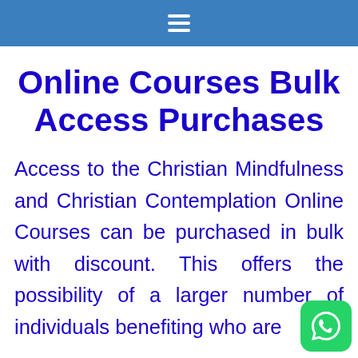≡
Online Courses Bulk Access Purchases
Access to the Christian Mindfulness and Christian Contemplation Online Courses can be purchased in bulk with discount. This offers the possibility of a larger number of individuals benefiting who are